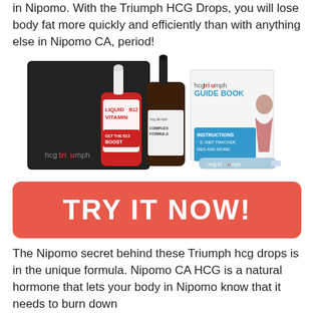in Nipomo. With the Triumph HCG Drops, you will lose body fat more quickly and efficiently than with anything else in Nipomo CA, period!
[Figure (photo): HCG Triumph product kit including two dropper bottles (Liquid Vitamins with 'Get the B12 Boost' label and HCG Triumph Complex Formula), a guide book, instruction card, and a USB drive, all displayed in front of a black HCG Triumph branded box.]
[Figure (infographic): Red rounded rectangle button with white bold text reading 'TRY IT NOW!']
The Nipomo secret behind these Triumph hcg drops is in the unique formula. Nipomo CA HCG is a natural hormone that lets your body in Nipomo know that it needs to burn down